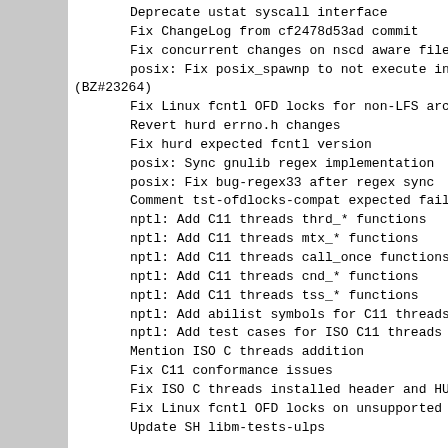Deprecate ustat syscall interface
Fix ChangeLog from cf2478d53ad commit
Fix concurrent changes on nscd aware files (BZ...
posix: Fix posix_spawnp to not execute invalid (BZ#23264)
Fix Linux fcntl OFD locks for non-LFS architec...
Revert hurd errno.h changes
Fix hurd expected fcntl version
posix: Sync gnulib regex implementation
posix: Fix bug-regex33 after regex sync
Comment tst-ofdlocks-compat expected failure i...
nptl: Add C11 threads thrd_* functions
nptl: Add C11 threads mtx_* functions
nptl: Add C11 threads call_once functions
nptl: Add C11 threads cnd_* functions
nptl: Add C11 threads tss_* functions
nptl: Add abilist symbols for C11 threads
nptl: Add test cases for ISO C11 threads
Mention ISO C threads addition
Fix C11 conformance issues
Fix ISO C threads installed header and HURD as...
Fix Linux fcntl OFD locks on unsupported kerne...
Update SH libm-tests-ulps
Agustina Arzille (2):
hurd: Rewrite __libc_cleanup_*
hurd: Reimplement libc locks using mach's gsyn...
Alan Modra (1):
R_PARISC_TLS_DTPOFF32 reloc handling